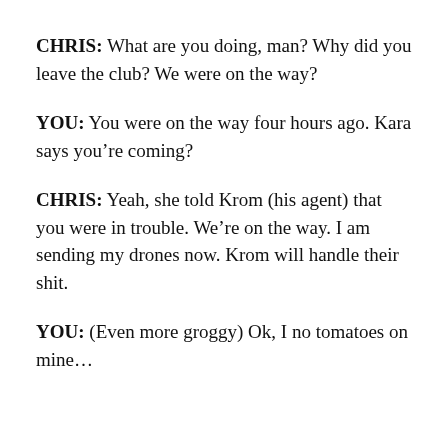CHRIS: What are you doing, man? Why did you leave the club? We were on the way?
YOU: You were on the way four hours ago. Kara says you’re coming?
CHRIS: Yeah, she told Krom (his agent) that you were in trouble. We’re on the way. I am sending my drones now. Krom will handle their shit.
YOU: (Even more groggy) Ok, I no tomatoes on mine…